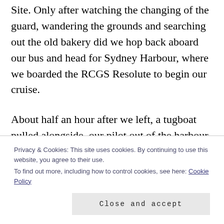Site. Only after watching the changing of the guard, wandering the grounds and searching out the old bakery did we hop back aboard our bus and head for Sydney Harbour, where we boarded the RCGS Resolute to begin our cruise.
About half an hour after we left, a tugboat pulled alongside, our pilot out of the harbour hopped off the RCGS Resolute onto the Pilot boat and it veered away and turned back to the harbour.
Privacy & Cookies: This site uses cookies. By continuing to use this website, you agree to their use.
To find out more, including how to control cookies, see here: Cookie Policy
Close and accept